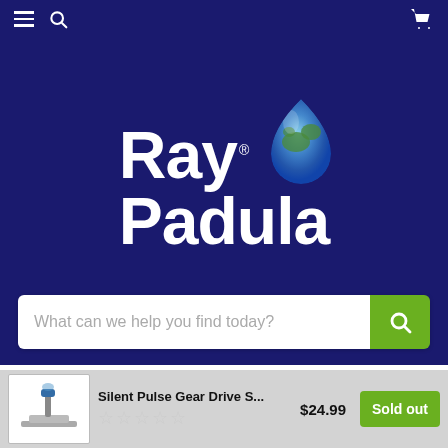Ray Padula website header navigation with hamburger menu, search icon, and cart icon
[Figure (logo): Ray Padula logo on dark navy background: large white bold text 'Ray Padula' with a water-drop containing a globe image above the R in Ray, and a registered trademark symbol]
What can we help you find today?
Silent Pulse Gear Drive S...  $24.99  Sold out
1